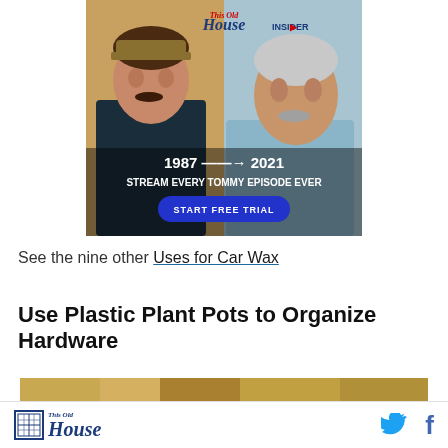[Figure (photo): This Old House Insider advertisement banner showing a man in 1987 and 2021, text '1987 → 2021 STREAM EVERY TOMMY EPISODE EVER' with a 'START FREE TRIAL' button]
See the nine other Uses for Car Wax
Use Plastic Plant Pots to Organize Hardware
[Figure (photo): Partial image of plastic plant pots used for hardware organization]
This Old House logo with Twitter and Facebook social icons